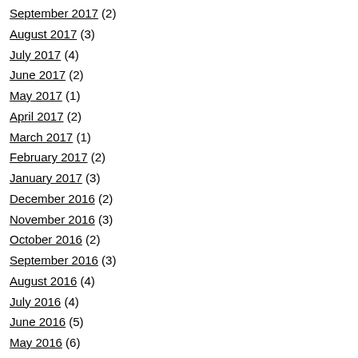September 2017 (2)
August 2017 (3)
July 2017 (4)
June 2017 (2)
May 2017 (1)
April 2017 (2)
March 2017 (1)
February 2017 (2)
January 2017 (3)
December 2016 (2)
November 2016 (3)
October 2016 (2)
September 2016 (3)
August 2016 (4)
July 2016 (4)
June 2016 (5)
May 2016 (6)
April 2016 (6)
March 2016 (6)